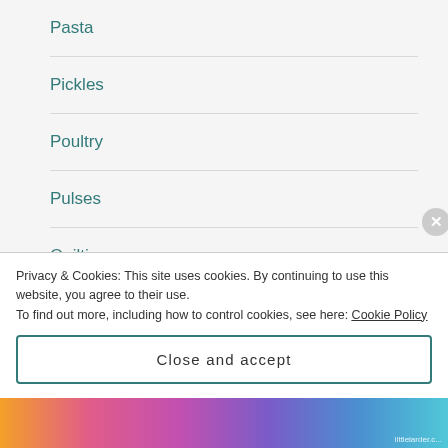Pasta
Pickles
Poultry
Pulses
Quilting
Recipes
Rice
Privacy & Cookies: This site uses cookies. By continuing to use this website, you agree to their use.
To find out more, including how to control cookies, see here: Cookie Policy
Close and accept